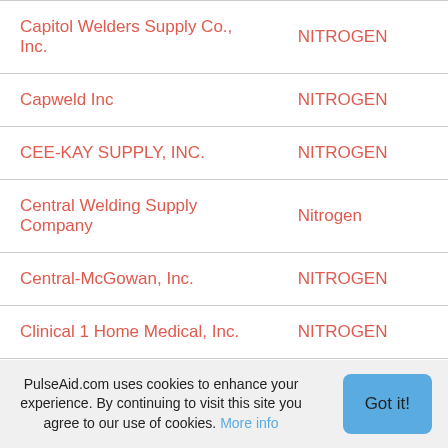| Company | Product |
| --- | --- |
| Capitol Welders Supply Co., Inc. | NITROGEN |
| Capweld Inc | NITROGEN |
| CEE-KAY SUPPLY, INC. | NITROGEN |
| Central Welding Supply Company | Nitrogen |
| Central-McGowan, Inc. | NITROGEN |
| Clinical 1 Home Medical, Inc. | NITROGEN |
| Coastal Welding Supply, Inc. | Nitrogen |
| Compressed Gas Solutions Inc | Nitrogen |
| Compressed Gases Inc | NITROGEN |
PulseAid.com uses cookies to enhance your experience. By continuing to visit this site you agree to our use of cookies. More info